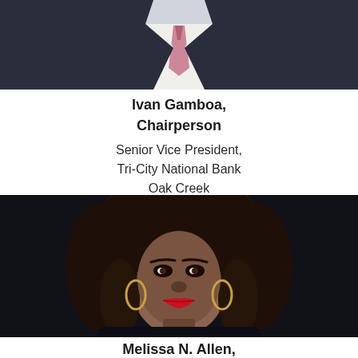[Figure (photo): Cropped photo of Ivan Gamboa in suit and tie, showing lower face/chest area only]
Ivan Gamboa,
Chairperson
Senior Vice President,
Tri-City National Bank
Oak Creek
[Figure (photo): Portrait photo of Melissa N. Allen, a woman with locs hairstyle, wearing dark clothing, red lipstick, gold hoop earrings, against dark background]
Melissa N. Allen,
Vice Chairperson